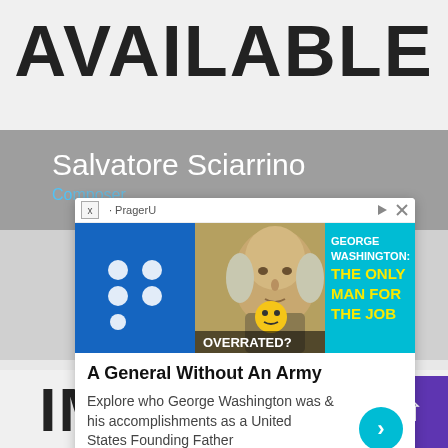AVAILABLE
Salvatore Sciarrino
Composer
[Figure (screenshot): Advertisement overlay from PragerU about George Washington with blue logo, image of Washington on currency, text 'GEORGE WASHINGTON: THE ONLY MAN FOR THE JOB' and 'OVERRATED?', with title 'A General Without An Army' and description 'Explore who George Washington was & his accomplishments as a United States Founding Father']
[Figure (illustration): Gray placeholder image icon (image not available graphic)]
IMAGE NOT